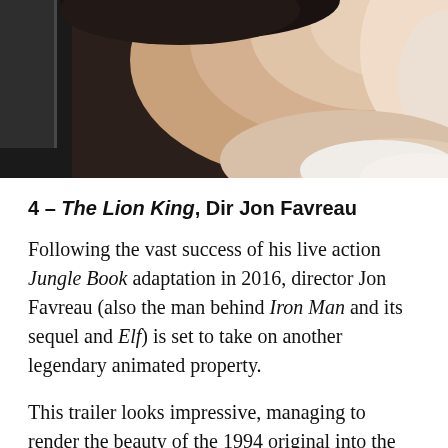[Figure (photo): Cropped photo showing part of a person's face/head against a dark background on the left and lighter tones on the right.]
4 – The Lion King, Dir Jon Favreau
Following the vast success of his live action Jungle Book adaptation in 2016, director Jon Favreau (also the man behind Iron Man and its sequel and Elf) is set to take on another legendary animated property.
This trailer looks impressive, managing to render the beauty of the 1994 original into the live action format. However, given its pretty